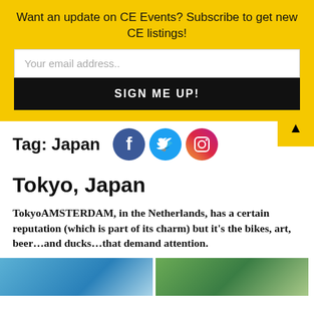Want an update on CE Events? Subscribe to get new CE listings!
Your email address..
SIGN ME UP!
Tag: Japan
Tokyo, Japan
TokyoAMSTERDAM, in the Netherlands, has a certain reputation (which is part of its charm) but it’s the bikes, art, beer…and ducks…that demand attention.
[Figure (photo): Two thumbnail images at bottom of page, partially visible]